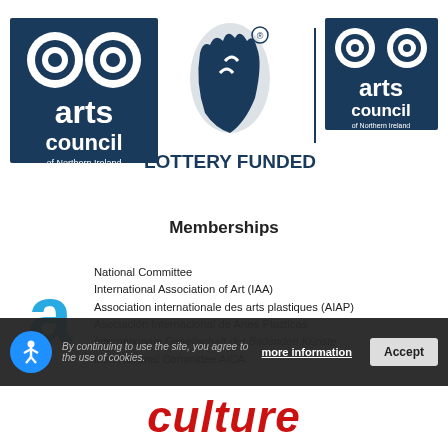[Figure (logo): Arts Council of Northern Ireland logo (teal/dark blue with double spiral symbol) on the left, National Lottery Funded logo (blue hand with crossed fingers and registered mark) in the middle, and Arts Council of Northern Ireland logo on the right, with text 'LOTTERY FUNDED' in dark blue bold capitals]
Memberships
[Figure (logo): IAA light blue letter 'a' logo (International Association of Art)]
National Committee
International Association of Art (IAA)
Association internationale des arts plastiques (AIAP)
Asociación Internacional de Artes Plasticas
Internationale Gesellschaft der Bildenden Künste
Irish National Committee AICA
By continuing to use the site, you agree to the use of cookies. more information | Accept
culture